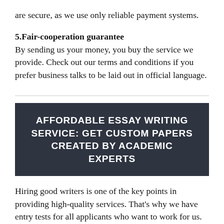are secure, as we use only reliable payment systems.
5.Fair-cooperation guarantee
By sending us your money, you buy the service we provide. Check out our terms and conditions if you prefer business talks to be laid out in official language.
AFFORDABLE ESSAY WRITING SERVICE: GET CUSTOM PAPERS CREATED BY ACADEMIC EXPERTS
Hiring good writers is one of the key points in providing high-quality services. That's why we have entry tests for all applicants who want to work for us. We try to make sure all writers working for us are